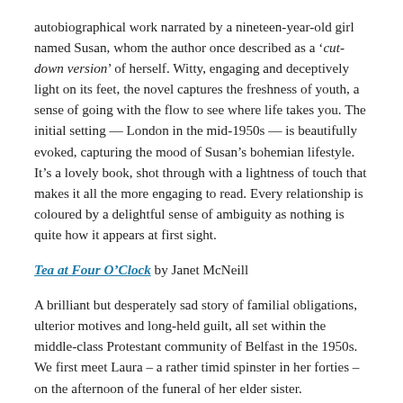autobiographical work narrated by a nineteen-year-old girl named Susan, whom the author once described as a 'cut-down version' of herself. Witty, engaging and deceptively light on its feet, the novel captures the freshness of youth, a sense of going with the flow to see where life takes you. The initial setting — London in the mid-1950s — is beautifully evoked, capturing the mood of Susan's bohemian lifestyle. It's a lovely book, shot through with a lightness of touch that makes it all the more engaging to read. Every relationship is coloured by a delightful sense of ambiguity as nothing is quite how it appears at first sight.
Tea at Four O'Clock by Janet McNeill
A brilliant but desperately sad story of familial obligations, ulterior motives and long-held guilt, all set within the middle-class Protestant community of Belfast in the 1950s. We first meet Laura – a rather timid spinster in her forties – on the afternoon of the funeral of her elder sister.